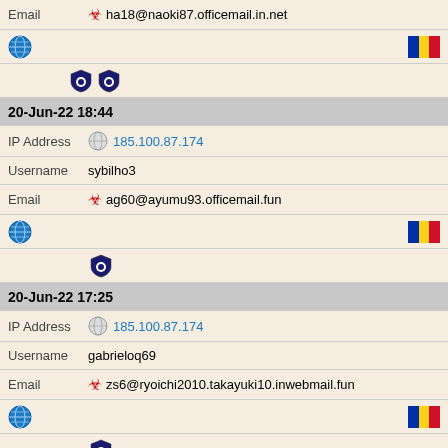Email ha18@naoki87.officemail.in.net
[globe icon] [Romania flag]
[shield icons x2]
20-Jun-22 18:44
IP Address 185.100.87.174
Username sybilho3
Email ag60@ayumu93.officemail.fun
[globe icon] [Romania flag]
[shield icon]
20-Jun-22 17:25
IP Address 185.100.87.174
Username gabrieloq69
Email zs6@ryoichi2010.takayuki10.inwebmail.fun
[globe icon] [Romania flag]
[shield icon]
20-Jun-22 17:19
IP Address 185.100.87.174